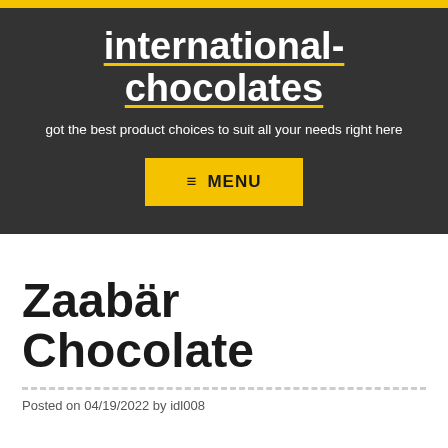international-chocolates
got the best product choices to suit all your needs right here
≡ MENU
Zaabär Chocolate
Posted on 04/19/2022 by idl008